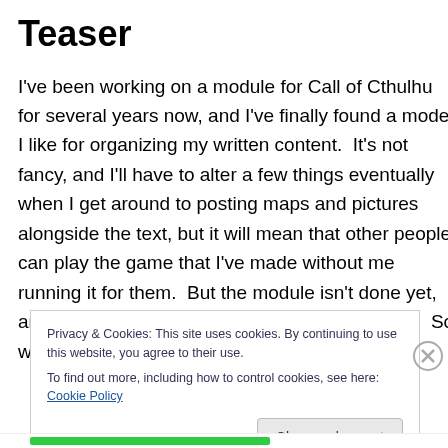Teaser
I've been working on a module for Call of Cthulhu for several years now, and I've finally found a model I like for organizing my written content.  It's not fancy, and I'll have to alter a few things eventually when I get around to posting maps and pictures alongside the text, but it will mean that other people can play the game that I've made without me running it for them.  But the module isn't done yet, and is already far longer than most of our posts.  So with that in mind…
Privacy & Cookies: This site uses cookies. By continuing to use this website, you agree to their use.
To find out more, including how to control cookies, see here: Cookie Policy